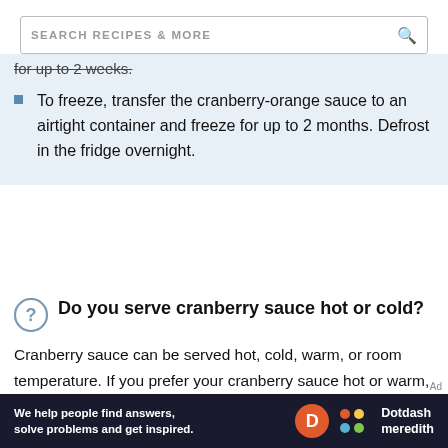SEARCH RECIPES & MORE
for up to 2 weeks.
To freeze, transfer the cranberry-orange sauce to an airtight container and freeze for up to 2 months. Defrost in the fridge overnight.
Do you serve cranberry sauce hot or cold?
Cranberry sauce can be served hot, cold, warm, or room temperature. If you prefer your cranberry sauce hot or warm, heat it
[Figure (other): Dotdash Meredith advertisement banner with text: We help people find answers, solve problems and get inspired.]